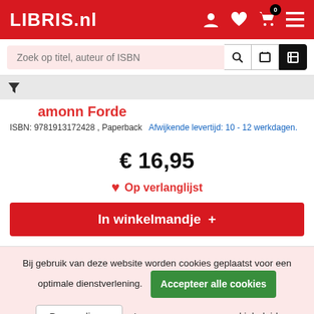LIBRIS.nl
Zoek op titel, auteur of ISBN
amonn Forde
ISBN: 9781913172428 , Paperback   Afwijkende levertijd: 10 - 12 werkdagen.
€ 16,95
♥ Op verlanglijst
In winkelmandje +
Bij gebruik van deze website worden cookies geplaatst voor een optimale dienstverlening.
Accepteer alle cookies
Personaliseer
Lees meer over ons cookiebeleid